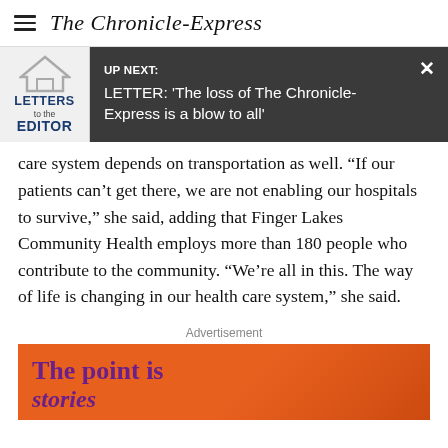The Chronicle-Express
[Figure (screenshot): Up Next notification bar with Letters to the Editor icon, showing headline: LETTER: 'The loss of The Chronicle-Express is a blow to all']
care system depends on transportation as well. “If our patients can’t get there, we are not enabling our hospitals to survive,” she said, adding that Finger Lakes Community Health employs more than 180 people who contribute to the community. “We’re all in this. The way of life is changing in our health care system,” she said.
Advertisement
[Figure (photo): Advertisement banner with orange background showing text 'The point is stories']